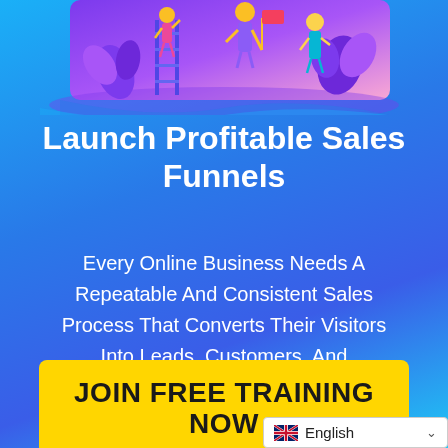[Figure (illustration): Colorful flat illustration of people with plants and a ladder against a gradient purple/pink sky background]
Launch Profitable Sales Funnels
Every Online Business Needs A Repeatable And Consistent Sales Process That Converts Their Visitors Into Leads, Customers, And Advocates.
JOIN FREE TRAINING NOW